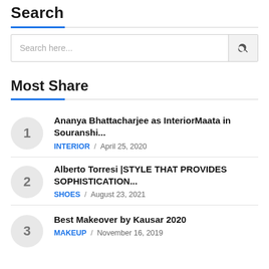Search
[Figure (screenshot): Search input box with placeholder text 'Search here...' and a magnifying glass icon button on the right]
Most Share
Ananya Bhattacharjee as InteriorMaata in Souranshi... | INTERIOR / April 25, 2020
Alberto Torresi |STYLE THAT PROVIDES SOPHISTICATION... | SHOES / August 23, 2021
Best Makeover by Kausar 2020 | MAKEUP / November 16, 2019